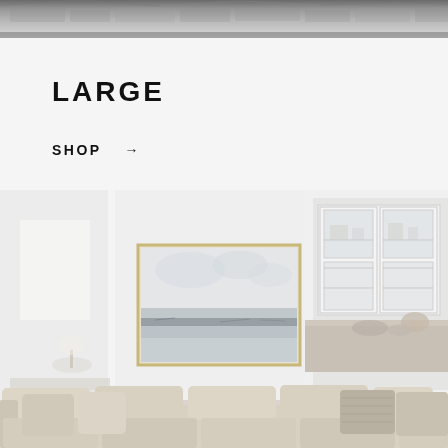[Figure (photo): Top partial view of a textured roof or stone surface in grey tones]
LARGE
SHOP →
[Figure (photo): Interior living room scene with white walls, a large abstract landscape painting in a gold frame, white glass-front kitchen cabinets visible through a doorway on the right, and a beige sofa with cushions in the foreground]